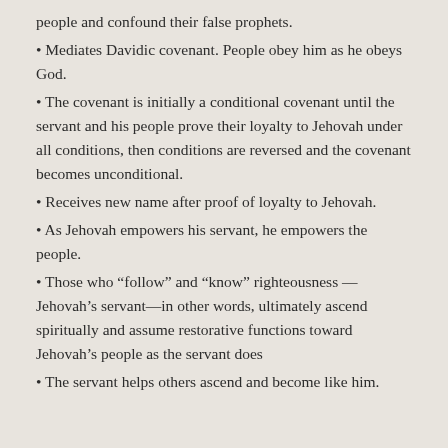people and confound their false prophets.
Mediates Davidic covenant. People obey him as he obeys God.
The covenant is initially a conditional covenant until the servant and his people prove their loyalty to Jehovah under all conditions, then conditions are reversed and the covenant becomes unconditional.
Receives new name after proof of loyalty to Jehovah.
As Jehovah empowers his servant, he empowers the people.
Those who “follow” and “know” righteousness — Jehovah’s servant—in other words, ultimately ascend spiritually and assume restorative functions toward Jehovah’s people as the servant does
The servant helps others ascend and become like him.